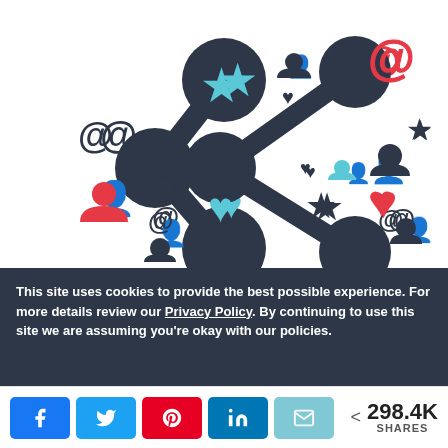[Figure (illustration): Social media sharing illustration: large dark navy share icon (network/share symbol with three connected circles) in center, surrounded by various social media icons including @ symbols (red and dark navy), person/user icons (red, cyan, dark navy), heart icons (dark navy, cyan, red), and star icons (cyan, dark navy) scattered around at various sizes on a white background.]
This site uses cookies to provide the best possible experience. For more details review our Privacy Policy. By continuing to use this site we are assuming you're okay with our policies.
[Figure (infographic): Social share bar with five share buttons: Facebook (blue), Twitter (blue), Pinterest (red), LinkedIn (blue), Email (cyan/teal), followed by share count showing < 298.4K SHARES]